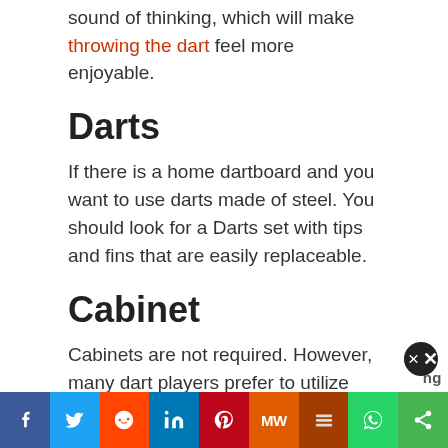sound of thinking, which will make throwing the dart feel more enjoyable.
Darts
If there is a home dartboard and you want to use darts made of steel. You should look for a Darts set with tips and fins that are easily replaceable.
Cabinet
Cabinets are not required. However, many dart players prefer to utilize one because they keep the dartboard safe from dirt and dust and shield the surfaces from damage caused by a dart. The cab…